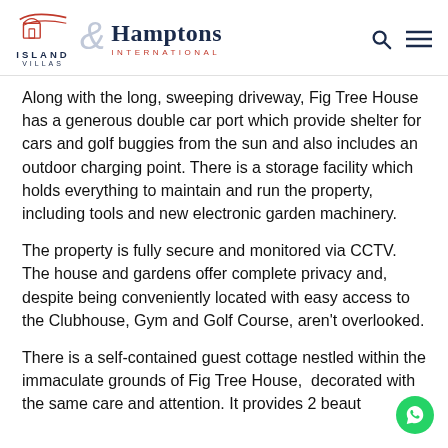[Figure (logo): Island Villas and Hamptons International logo with search and menu icons]
Along with the long, sweeping driveway, Fig Tree House has a generous double car port which provide shelter for cars and golf buggies from the sun and also includes an outdoor charging point. There is a storage facility which holds everything to maintain and run the property, including tools and new electronic garden machinery.
The property is fully secure and monitored via CCTV. The house and gardens offer complete privacy and, despite being conveniently located with easy access to the Clubhouse, Gym and Golf Course, aren't overlooked.
There is a self-contained guest cottage nestled within the immaculate grounds of Fig Tree House,  decorated with the same care and attention. It provides 2 beaut...